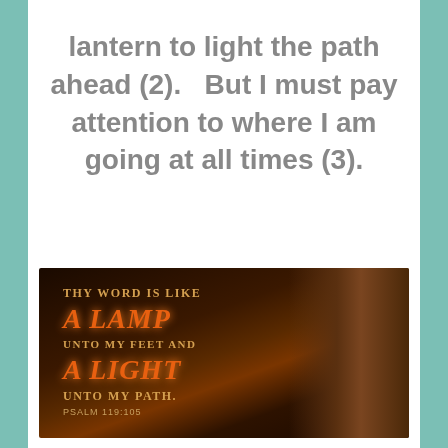lantern to light the path ahead (2).   But I must pay attention to where I am going at all times (3).
[Figure (photo): Dark atmospheric image with text overlay reading: THY WORD IS LIKE A LAMP UNTO MY FEET AND A LIGHT UNTO MY PATH. PSALM 119:105. Orange glowing text on dark brown background with wood grain visible.]